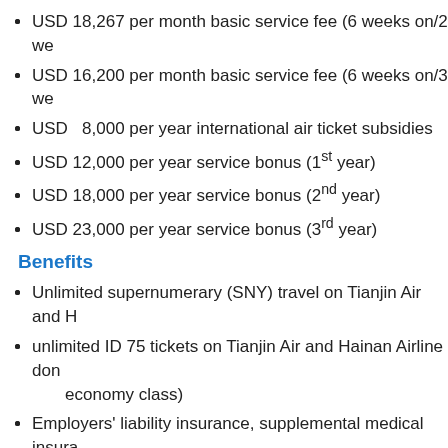USD 18,267 per month basic service fee (6 weeks on/2 we…
USD 16,200 per month basic service fee (6 weeks on/3 we…
USD  8,000 per year international air ticket subsidies
USD 12,000 per year service bonus (1st year)
USD 18,000 per year service bonus (2nd year)
USD 23,000 per year service bonus (3rd year)
Benefits
Unlimited supernumerary (SNY) travel on Tianjin Air and H…
unlimited ID 75 tickets on Tianjin Air and Hainan Airline dom… economy class)
Employers' liability insurance, supplemental medical insura…
Others
60% off monthly wages will be paid from the day of registra…
80% off monthly wages will be paid thereafter until flying as…
sick leave:        5 days